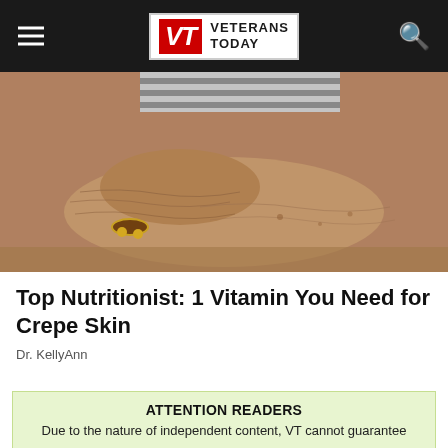Veterans Today
[Figure (photo): Close-up photograph of elderly person's aged, wrinkled forearms and hands resting on a surface, wearing a bracelet, with a striped shirt visible in the background.]
Top Nutritionist: 1 Vitamin You Need for Crepe Skin
Dr. KellyAnn
ATTENTION READERS
Due to the nature of independent content, VT cannot guarantee